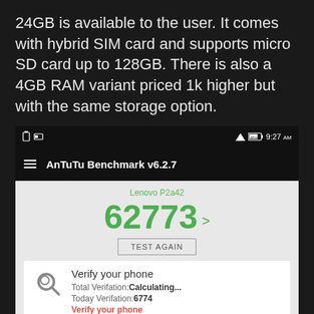24GB is available to the user. It comes with hybrid SIM card and supports micro SD card up to 128GB. There is also a 4GB RAM variant priced 1k higher but with the same storage option.
[Figure (screenshot): AnTuTu Benchmark v6.2.7 app screenshot showing Lenovo P2a42 with benchmark score 62773, a TEST AGAIN button, a 'Verify your phone' card showing Total Verifation: Calculating... and Today Verifation: 6774 with a 'Verify your phone' link, and a partial 'user rating' card below.]